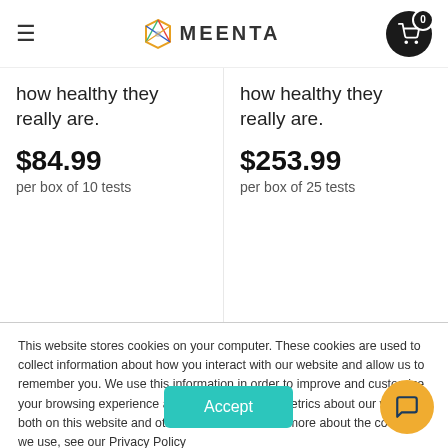MEENTA
how healthy they really are.
$84.99
per box of 10 tests
how healthy they really are.
$253.99
per box of 25 tests
[Figure (photo): Product image strip showing a test kit with a dark tab]
This website stores cookies on your computer. These cookies are used to collect information about how you interact with our website and allow us to remember you. We use this information in order to improve and customize your browsing experience and for analytics and metrics about our visitors both on this website and other media. To find out more about the cookies we use, see our Privacy Policy
Accept